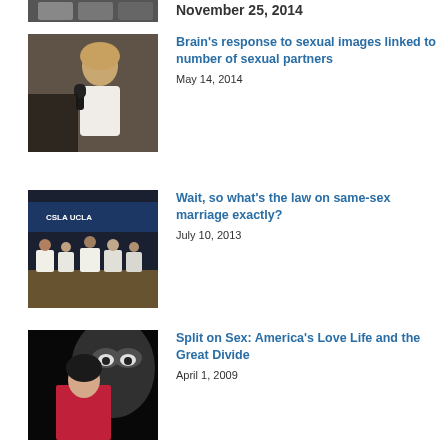[Figure (photo): Partial view of people at top of page]
November 25, 2014
[Figure (photo): Woman speaking at microphone]
Brain's response to sexual images linked to number of sexual partners
May 14, 2014
[Figure (photo): Panel discussion at UCLA event]
Wait, so what's the law on same-sex marriage exactly?
July 10, 2013
[Figure (photo): Woman in red top in front of large face backdrop]
Split on Sex: America's Love Life and the Great Divide
April 1, 2009